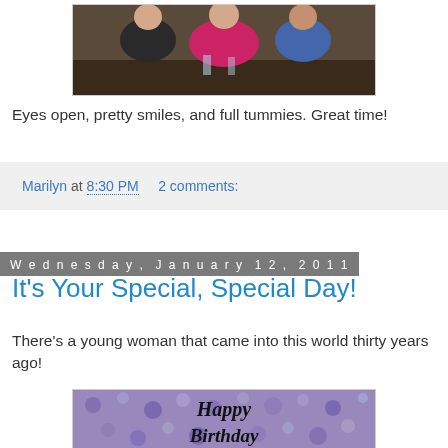[Figure (photo): Group photo of people sitting at a table, partially cropped at top]
Eyes open, pretty smiles, and full tummies. Great time!
Marilyn at 8:30 PM   2 comments:
Wednesday, January 12, 2011
It's Your Special, Special Day!
There's a young woman that came into this world thirty years ago!
[Figure (photo): Happy Birthday card image with purple/blue floral background and decorative text reading 'Happy Birthday']